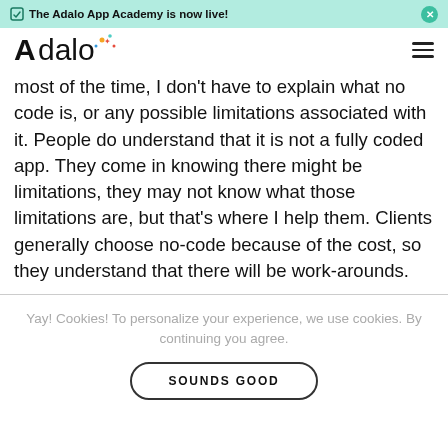The Adalo App Academy is now live!
[Figure (logo): Adalo logo with colorful star/sparkle accents]
most of the time, I don't have to explain what no code is, or any possible limitations associated with it. People do understand that it is not a fully coded app. They come in knowing there might be limitations, they may not know what those limitations are, but that's where I help them. Clients generally choose no-code because of the cost, so they understand that there will be work-arounds.
Yay! Cookies! To personalize your experience, we use cookies. By continuing you agree.
SOUNDS GOOD